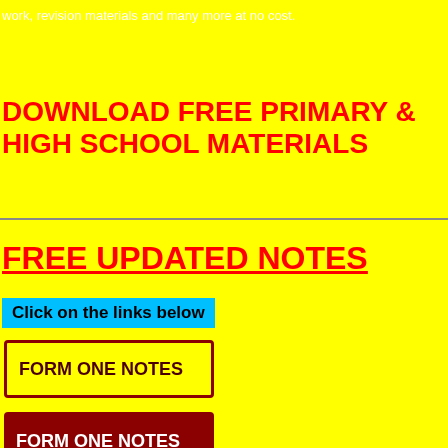work, revision materials and many more at no cost.
DOWNLOAD FREE PRIMARY & HIGH SCHOOL MATERIALS
FREE UPDATED NOTES
Click on the links below
FORM ONE NOTES
FORM ONE NOTES